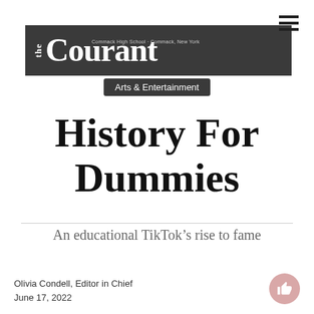the Courant — Commack High School · Commack, New York
Arts & Entertainment
History For Dummies
An educational TikTok's rise to fame
Olivia Condell, Editor in Chief
June 17, 2022